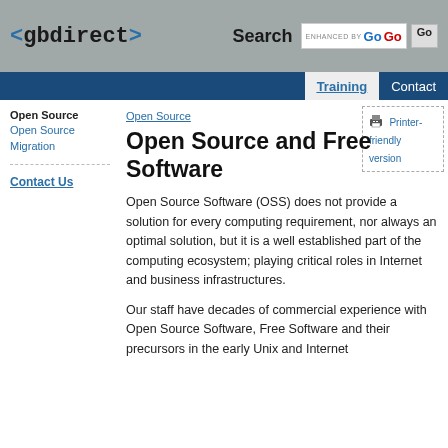[Figure (logo): gbdirect logo in monospace font with angle brackets]
[Figure (screenshot): Search bar with ENHANCED BY Go Go button]
Training | Contact
Open Source
Open Source Migration
Contact Us
Open Source
[Figure (illustration): Printer-friendly version icon and link]
Open Source and Free Software
Open Source Software (OSS) does not provide a solution for every computing requirement, nor always an optimal solution, but it is a well established part of the computing ecosystem; playing critical roles in Internet and business infrastructures.
Our staff have decades of commercial experience with Open Source Software, Free Software and their precursors in the early Unix and Internet